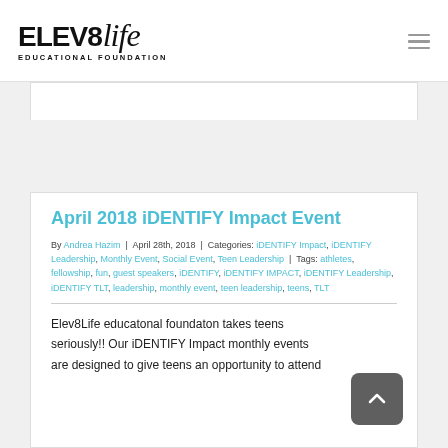Elev8life Educational Foundation
April 2018 iDENTIFY Impact Event
By Andrea Hazim | April 28th, 2018 | Categories: iDENTIFY Impact, iDENTIFY Leadership, Monthly Event, Social Event, Teen Leadership | Tags: athletes, fellowship, fun, guest speakers, iDENTIFY, iDENTIFY IMPACT, iDENTIFY Leadership, iDENTIFY TLT, leadership, monthly event, teen leadership, teens, TLT
Elev8Life educatonal foundaton takes teens seriously!! Our iDENTIFY Impact monthly events are designed to give teens an opportunity to attend